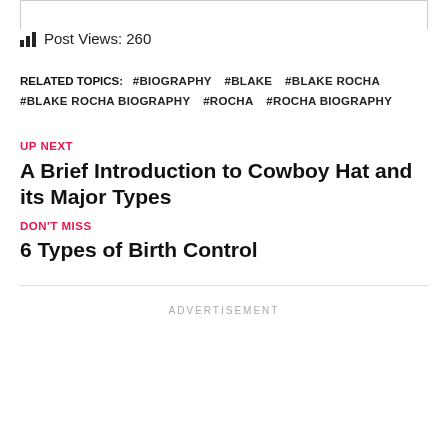Post Views: 260
RELATED TOPICS: #BIOGRAPHY #BLAKE #BLAKE ROCHA #BLAKE ROCHA BIOGRAPHY #ROCHA #ROCHA BIOGRAPHY
UP NEXT
A Brief Introduction to Cowboy Hat and its Major Types
DON'T MISS
6 Types of Birth Control
ADVERTISEMENT